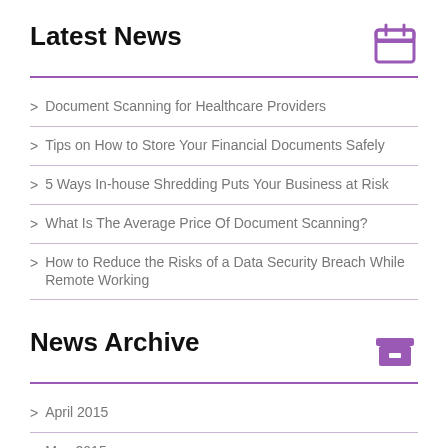Latest News
Document Scanning for Healthcare Providers
Tips on How to Store Your Financial Documents Safely
5 Ways In-house Shredding Puts Your Business at Risk
What Is The Average Price Of Document Scanning?
How to Reduce the Risks of a Data Security Breach While Remote Working
News Archive
April 2015
May 2015